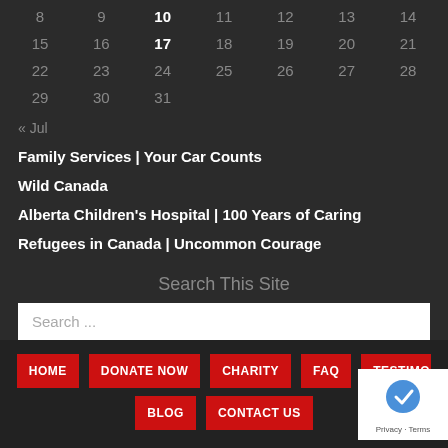| 8 | 9 | 10 | 11 | 12 | 13 | 14 |
| 15 | 16 | 17 | 18 | 19 | 20 | 21 |
| 22 | 23 | 24 | 25 | 26 | 27 | 28 |
| 29 | 30 | 31 |  |  |  |  |
« Jul
Family Services | Your Car Counts
Wild Canada
Alberta Children's Hospital | 100 Years of Caring
Refugees in Canada | Uncommon Courage
Search This Site
Search ...
HOME  DONATE NOW  CHARITY  FAQ  TESTIMO...  BLOG  CONTACT US